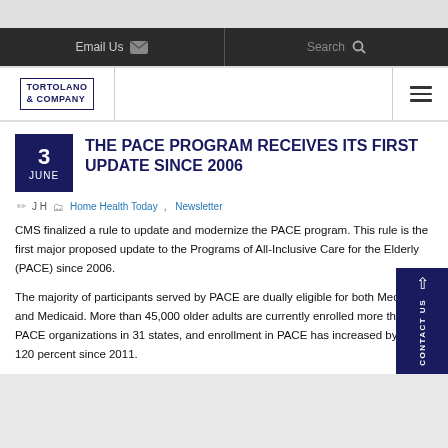Email Us | Search
[Figure (logo): Tortolano & Company logo with hamburger menu]
THE PACE PROGRAM RECEIVES ITS FIRST UPDATE SINCE 2006
J H  |  Home Health Today, Newsletter
CMS finalized a rule to update and modernize the PACE program. This rule is the first major proposed update to the Programs of All-Inclusive Care for the Elderly (PACE) since 2006.
The majority of participants served by PACE are dually eligible for both Medicare and Medicaid. More than 45,000 older adults are currently enrolled more than 100 PACE organizations in 31 states, and enrollment in PACE has increased by over 120 percent since 2011.